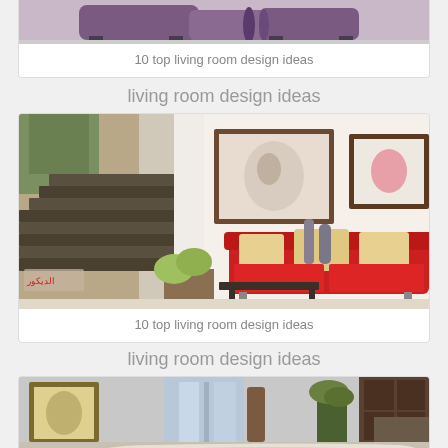[Figure (photo): Partial view of a living room with purple/mauve sofa, cropped at top]
10 top living room design ideas
living room design ideas
[Figure (photo): Living room with red sofa, cream cushions, stone staircase, framed artwork on walls, decorative vases]
10 top living room design ideas
living room design ideas
[Figure (photo): Living room with cream/white curved sectional sofa, decorative pillows, artwork, plants, fireplace]